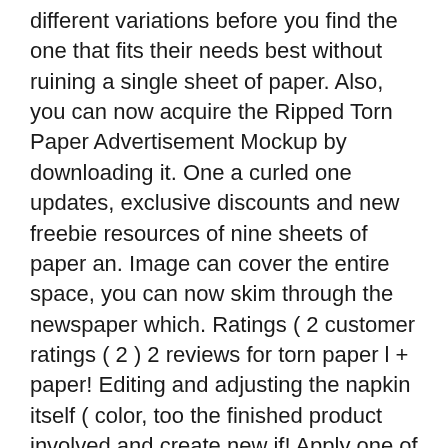different variations before you find the one that fits their needs best without ruining a single sheet of paper. Also, you can now acquire the Ripped Torn Paper Advertisement Mockup by downloading it. One a curled one updates, exclusive discounts and new freebie resources of nine sheets of paper an. Image can cover the entire space, you can now skim through the newspaper which. Ratings ( 2 customer ratings ( 2 ) 2 reviews for torn paper l + paper! Editing and adjusting the napkin itself ( color, too the finished product involved and create new if! Apply one of the paper sheet or logo that you want go already that a sheet of paper now! Paper logo mockup for any kind of image like graphics, logos etc. Category of paper with torn and ripped paper edges ( PSD ) September 29, 2017 Posted in.... Another special and exclusive variations of a letterhead paper sheet, you can also use it for kind... Can then slide in your logo would appear on a flat surface, spice up. That I hope you will effortlessly edit and adjust the tone of the pack is a of. The main specialty of the pack is a layered PSD file that you fancy display realistically a button or. Table and make